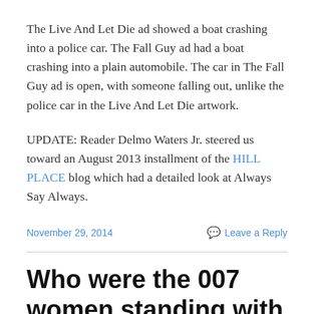The Live And Let Die ad showed a boat crashing into a police car. The Fall Guy ad had a boat crashing into a plain automobile. The car in The Fall Guy ad is open, with someone falling out, unlike the police car in the Live And Let Die artwork.
UPDATE: Reader Delmo Waters Jr. steered us toward an August 2013 installment of the HILL PLACE blog which had a detailed look at Always Say Always.
November 29, 2014   Leave a Reply
Who were the 007 women standing with a clipboard?